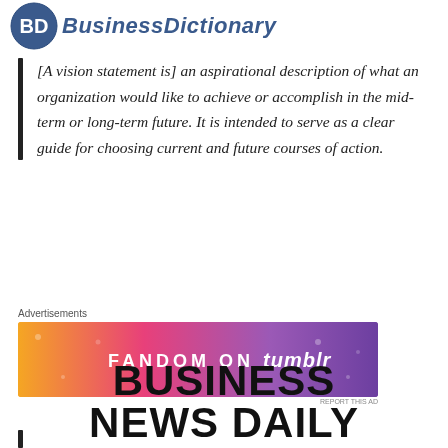[Figure (logo): BusinessDictionary logo with circular BD emblem and italic blue text]
[A vision statement is] an aspirational description of what an organization would like to achieve or accomplish in the mid-term or long-term future. It is intended to serve as a clear guide for choosing current and future courses of action.
[Figure (other): Fandom on Tumblr advertisement banner with colorful gradient background]
[Figure (logo): Business News Daily logo — BUSINESS NEWS DAILY in bold black, subtitle: Small Business Solutions & Inspiration]